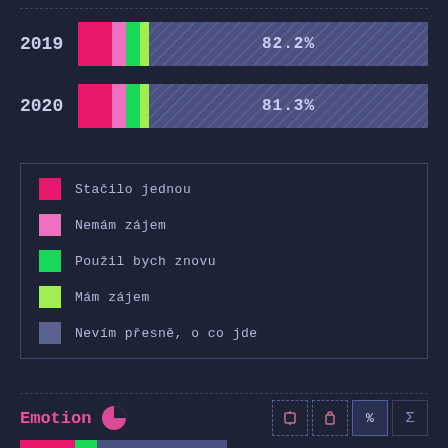[Figure (stacked-bar-chart): Stacked bar chart 2019 vs 2020]
Stačilo jednou
Nemám zájem
Použil bych znovu
Mám zájem
Nevím přesně, o co jde
Emotion